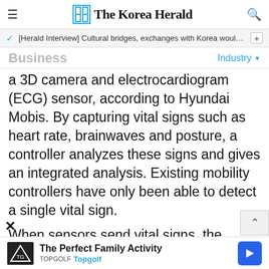The Korea Herald
[Herald Interview] Cultural bridges, exchanges with Korea would…
Business
a 3D camera and electrocardiogram (ECG) sensor, according to Hyundai Mobis. By capturing vital signs such as heart rate, brainwaves and posture, a controller analyzes these signs and gives an integrated analysis. Existing mobility controllers have only been able to detect a single vital sign.
When sensors send vital signs, the controller analyzes the data and displays a warning…
The Perfect Family Activity
Topgolf